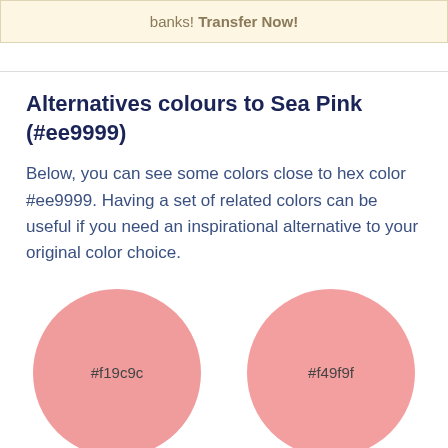banks! Transfer Now!
Alternatives colours to Sea Pink (#ee9999)
Below, you can see some colors close to hex color #ee9999. Having a set of related colors can be useful if you need an inspirational alternative to your original color choice.
[Figure (illustration): Two circles: left circle filled with color #f19c9c labeled '#f19c9c', right circle filled with color #f49f9f labeled '#f49f9f']